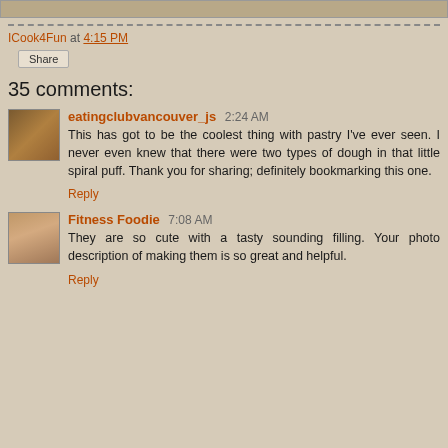[Figure (photo): Top strip showing partial food photo]
ICook4Fun at 4:15 PM
Share
35 comments:
eatingclubvancouver_js  2:24 AM
This has got to be the coolest thing with pastry I've ever seen. I never even knew that there were two types of dough in that little spiral puff. Thank you for sharing; definitely bookmarking this one.
Reply
Fitness Foodie  7:08 AM
They are so cute with a tasty sounding filling. Your photo description of making them is so great and helpful.
Reply